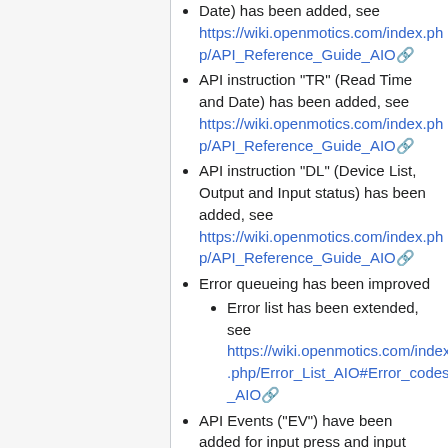Date) has been added, see https://wiki.openmotics.com/index.php/API_Reference_Guide_AIO
API instruction "TR" (Read Time and Date) has been added, see https://wiki.openmotics.com/index.php/API_Reference_Guide_AIO
API instruction "DL" (Device List, Output and Input status) has been added, see https://wiki.openmotics.com/index.php/API_Reference_Guide_AIO
Error queueing has been improved
Error list has been extended, see https://wiki.openmotics.com/index.php/Error_List_AIO#Error_codes_AIO
API Events ("EV") have been added for input press and input release, see https://wiki.openmotics.com/index.php